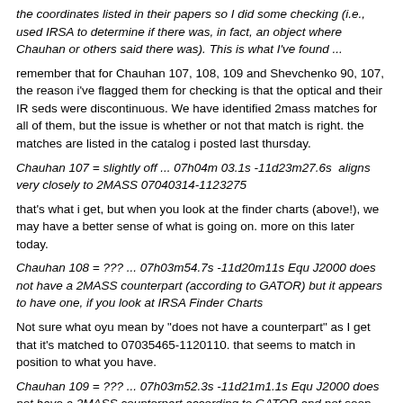the coordinates listed in their papers so I did some checking (i.e., used IRSA to determine if there was, in fact, an object where Chauhan or others said there was). This is what I've found ...
remember that for Chauhan 107, 108, 109 and Shevchenko 90, 107, the reason i've flagged them for checking is that the optical and their IR seds were discontinuous. We have identified 2mass matches for all of them, but the issue is whether or not that match is right. the matches are listed in the catalog i posted last thursday.
Chauhan 107 = slightly off ... 07h04m 03.1s -11d23m27.6s  aligns very closely to 2MASS 07040314-1123275
that's what i get, but when you look at the finder charts (above!), we may have a better sense of what is going on. more on this later today.
Chauhan 108 = ??? ... 07h03m54.7s -11d20m11s Equ J2000 does not have a 2MASS counterpart (according to GATOR) but it appears to have one, if you look at IRSA Finder Charts
Not sure what oyu mean by "does not have a counterpart" as I get that it's matched to 07035465-1120110. that seems to match in position to what you have.
Chauhan 109 = ??? ... 07h03m52.3s -11d21m1.1s Equ J2000 does not have a 2MASS counterpart according to GATOR and not seen on IRSA Finder Charts
Not sure what oyu mean by "does not have a counterpart" as I'll note that it'll...